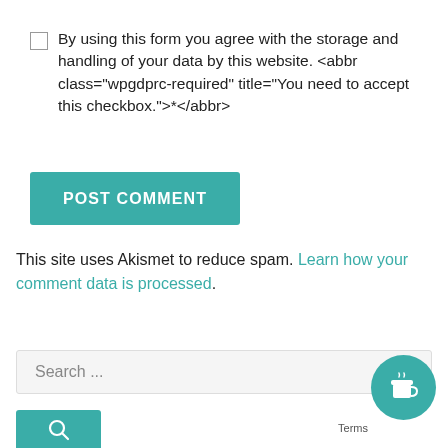By using this form you agree with the storage and handling of your data by this website. <abbr class="wpgdprc-required" title="You need to accept this checkbox.">*</abbr>
[Figure (other): POST COMMENT button — teal/green rectangle with white uppercase bold text]
This site uses Akismet to reduce spam. Learn how your comment data is processed.
Search ...
[Figure (other): Teal search button with magnifying glass icon]
[Figure (other): Teal circular coffee cup / Buy me a coffee floating button]
Terms